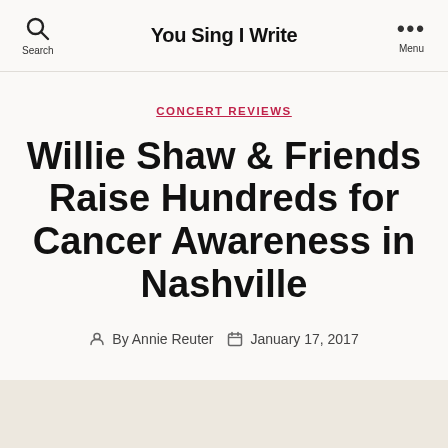You Sing I Write
CONCERT REVIEWS
Willie Shaw & Friends Raise Hundreds for Cancer Awareness in Nashville
By Annie Reuter  January 17, 2017